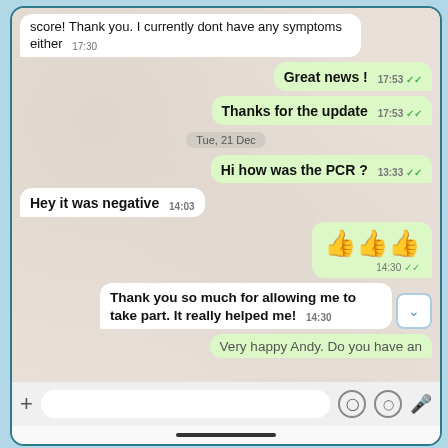[Figure (screenshot): WhatsApp chat screenshot showing a medical conversation about PCR test results. Messages include: incoming - 'score! Thank you. I currently dont have any symptoms either' at 17:30; outgoing - 'Great news!' at 17:53, 'Thanks for the update' at 17:53; date badge 'Tue, 21 Dec'; outgoing - 'Hi how was the PCR?' at 13:33; incoming - 'Hey it was negative' at 14:03; outgoing - three thumbs up emojis at 14:30; incoming - 'Thank you so much for allowing me to take part. It really helped me!' at 14:30; partial outgoing - 'Very happy Andy. Do you have an'; bottom keyboard bar visible.]